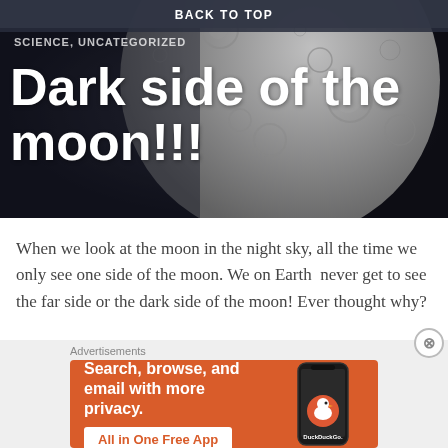BACK TO TOP
[Figure (photo): Close-up photo of the moon surface showing craters with a dark space background overlay]
SCIENCE, UNCATEGORIZED
Dark side of the moon!!!
When we look at the moon in the night sky, all the time we only see one side of the moon. We on Earth never get to see the far side or the dark side of the moon! Ever thought why?
[Figure (screenshot): DuckDuckGo advertisement: Search, browse, and email with more privacy. All in One Free App. Shows DuckDuckGo logo on a phone mockup.]